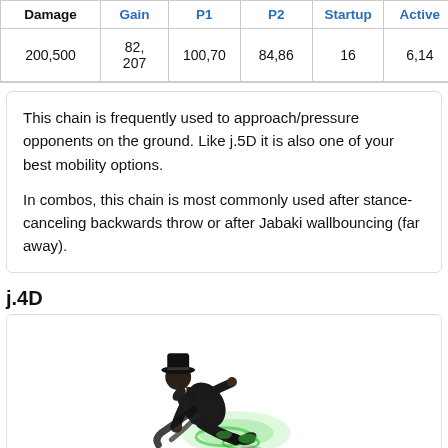| Damage | Gain | P1 | P2 | Startup | Active | Recovery | Ac |
| --- | --- | --- | --- | --- | --- | --- | --- |
| 200,500 | 82,
207 | 100,70 | 84,86 | 16 | 6,14 | 28 | - |
This chain is frequently used to approach/pressure opponents on the ground. Like j.5D it is also one of your best mobility options.
In combos, this chain is most commonly used after stance-canceling backwards throw or after Jabaki wallbouncing (far away).
j.4D
[Figure (illustration): A fighting game character in dark clothing performing a diving kick move with green energy effects and smoke/dust trails below.]